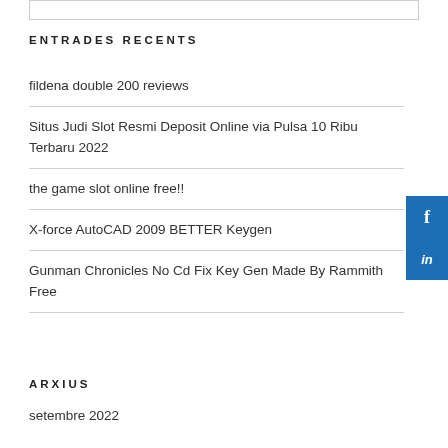ENTRADES RECENTS
fildena double 200 reviews
Situs Judi Slot Resmi Deposit Online via Pulsa 10 Ribu Terbaru 2022
the game slot online free!!
X-force AutoCAD 2009 BETTER Keygen
Gunman Chronicles No Cd Fix Key Gen Made By Rammith Free
ARXIUS
setembre 2022